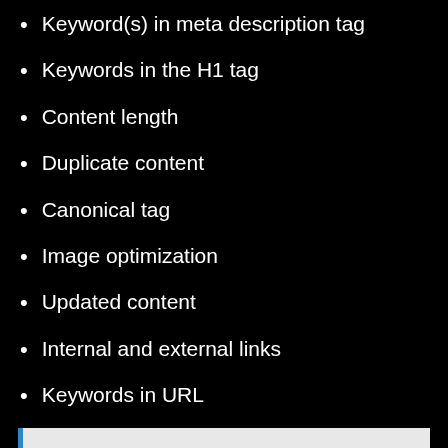Keyword(s) in meta description tag
Keywords in the H1 tag
Content length
Duplicate content
Canonical tag
Image optimization
Updated content
Internal and external links
Keywords in URL
See also  What Is Anchor Text & Is It Good for SEO?
FAQs About On-Page Search